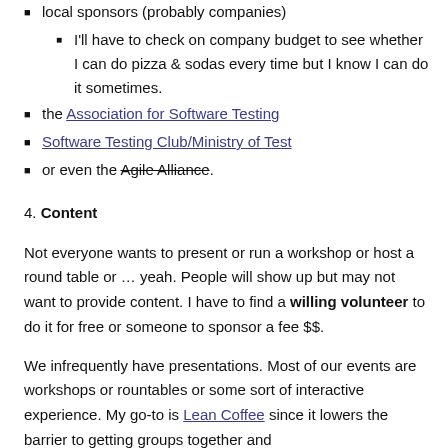local sponsors (probably companies)
I'll have to check on company budget to see whether I can do pizza & sodas every time but I know I can do it sometimes.
the Association for Software Testing
Software Testing Club/Ministry of Test
or even the Agile Alliance.
4. Content
Not everyone wants to present or run a workshop or host a round table or … yeah. People will show up but may not want to provide content. I have to find a willing volunteer to do it for free or someone to sponsor a fee $$.
We infrequently have presentations. Most of our events are workshops or rountables or some sort of interactive experience. My go-to is Lean Coffee since it lowers the barrier to getting groups together and